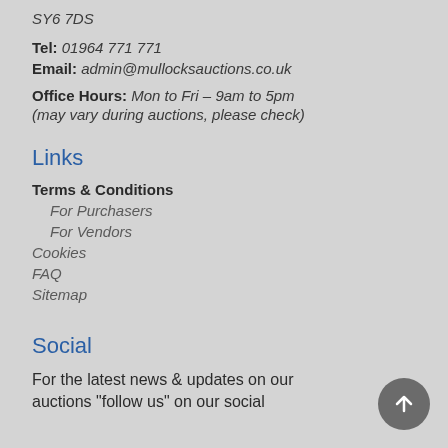SY6 7DS
Tel: 01964 771 771
Email: admin@mullocksauctions.co.uk
Office Hours: Mon to Fri – 9am to 5pm (may vary during auctions, please check)
Links
Terms & Conditions
For Purchasers
For Vendors
Cookies
FAQ
Sitemap
Social
For the latest news & updates on our auctions "follow us" on our social